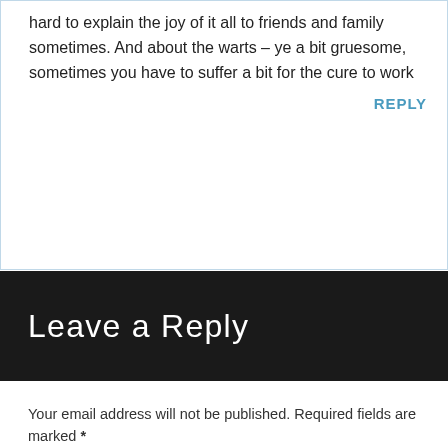hard to explain the joy of it all to friends and family sometimes. And about the warts – ye a bit gruesome, sometimes you have to suffer a bit for the cure to work
REPLY
Leave a Reply
Your email address will not be published. Required fields are marked *
Comment *